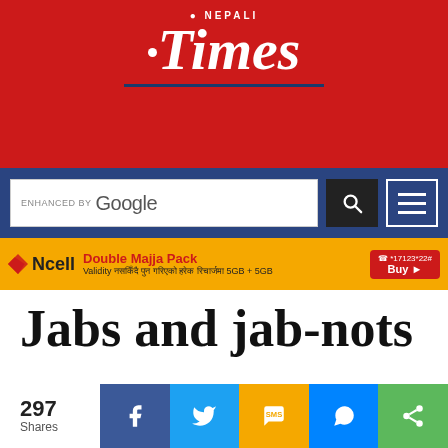[Figure (logo): Nepali Times logo — white italic serif 'Times' with 'NEPALI' above, on red background, with blue underline]
[Figure (screenshot): Google custom search bar on dark blue background, with hamburger menu button]
[Figure (infographic): Ncell Double Majja Pack advertisement banner in orange: 5GB + 5GB offer]
Jabs and jab-nots
297 Shares